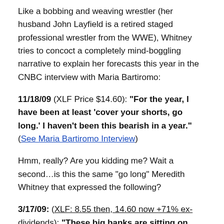Like a bobbing and weaving wrestler (her husband John Layfield is a retired staged professional wrestler from the WWE), Whitney tries to concoct a completely mind-boggling narrative to explain her forecasts this year in the CNBC interview with Maria Bartiromo:
11/18/09 (XLF Price $14.60): "For the year, I have been at least 'cover your shorts, go long.' I haven't been this bearish in a year." (See Maria Bartiromo Interview)
Hmm, really? Are you kidding me? Wait a second…is this the same "go long" Meredith Whitney that expressed the following?
3/17/09: (XLF: 8.55 then, 14.60 now +71% ex-dividends): "These big banks are sitting on loans that were underwritten with bad math, and the stocks are going...